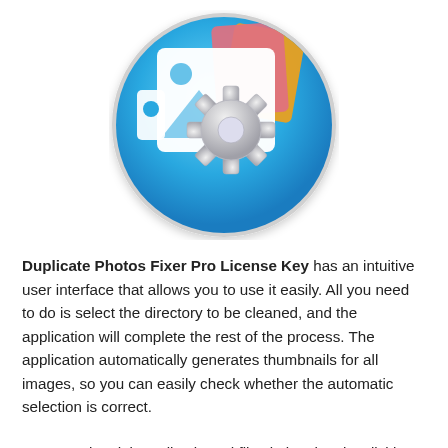[Figure (logo): Duplicate Photos Fixer Pro app icon: a circular blue gradient badge containing white photo/image icons and a silver gear/cog wheel, with colorful photo corner tabs (orange, pink/red) peeking out at the top.]
Duplicate Photos Fixer Pro License Key has an intuitive user interface that allows you to use it easily. All you need to do is select the directory to be cleaned, and the application will complete the rest of the process. The application automatically generates thumbnails for all images, so you can easily check whether the automatic selection is correct.
You can also delete all selected files in batches by clicking the mouse, thus saving a lot of storage space. Duplicate Photos Fixer Pro Serial Key – Time To Say Goodbye To Duplicate Photos! An easy-to-use